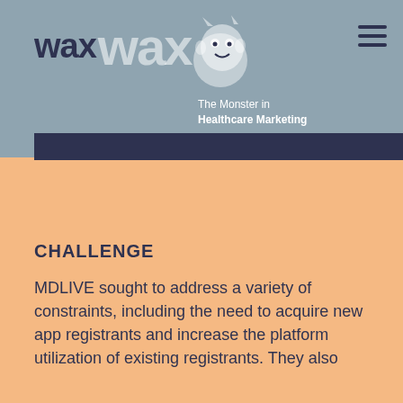[Figure (logo): WaxWax logo with monster icon and tagline 'The Monster in Healthcare Marketing' on a blue-grey header background]
CHALLENGE
MDLIVE sought to address a variety of constraints, including the need to acquire new app registrants and increase the platform utilization of existing registrants. They also